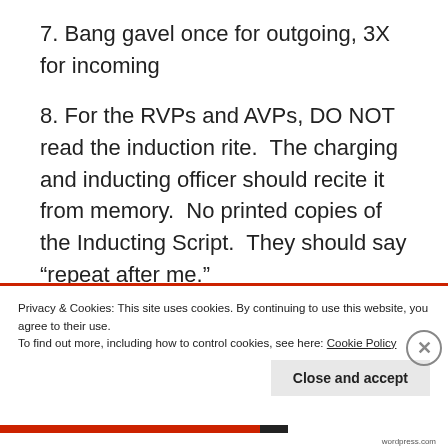7. Bang gavel once for outgoing, 3X for incoming
8. For the RVPs and AVPs, DO NOT read the induction rite.  The charging and inducting officer should recite it from memory.  No printed copies of the Inducting Script.  They should say “repeat after me.”
9. Charging and Inducting Officers – the Charging
Privacy & Cookies: This site uses cookies. By continuing to use this website, you agree to their use.
To find out more, including how to control cookies, see here: Cookie Policy